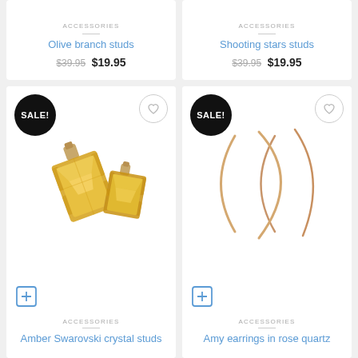ACCESSORIES
Olive branch studs
$39.95 $19.95
ACCESSORIES
Shooting stars studs
$39.95 $19.95
[Figure (photo): Two amber/yellow Swarovski crystal square stud earrings with gold settings on white background. SALE! badge in black circle top left, wishlist heart button top right.]
ACCESSORIES
Amber Swarovski crystal studs
[Figure (photo): Two thin rose gold arc/hoop earrings on white background. SALE! badge in black circle top left, wishlist heart button top right.]
ACCESSORIES
Amy earrings in rose quartz